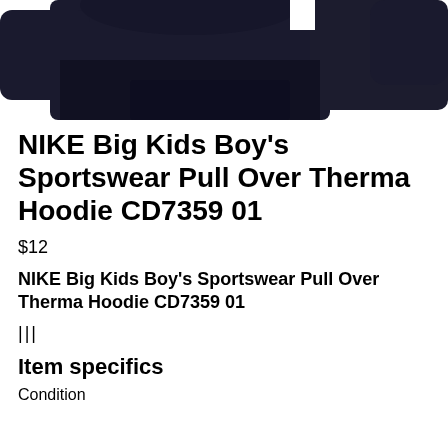[Figure (photo): Partial photo of a dark navy/black Nike hoodie garment, cropped showing upper portion against white background]
NIKE Big Kids Boy's Sportswear Pull Over Therma Hoodie CD7359 01
$12
NIKE Big Kids Boy's Sportswear Pull Over Therma Hoodie CD7359 01
|||
Item specifics
Condition